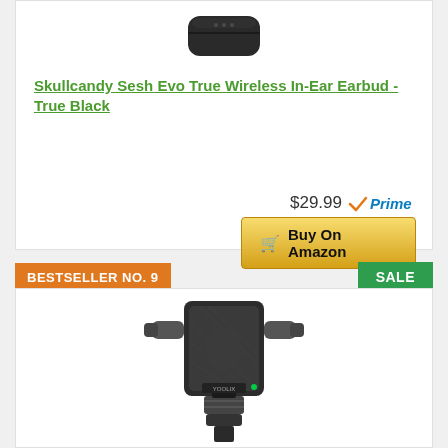[Figure (photo): Skullcandy Sesh Evo earbuds charging case - black, rectangular with rounded corners, LED indicators on front]
Skullcandy Sesh Evo True Wireless In-Ear Earbud - True Black
$29.99 Prime
Buy On Amazon
BESTSELLER NO. 9
SALE
[Figure (photo): Car phone mount holder with wireless charging - black, clip-on air vent style with gravity auto-clamping arms]